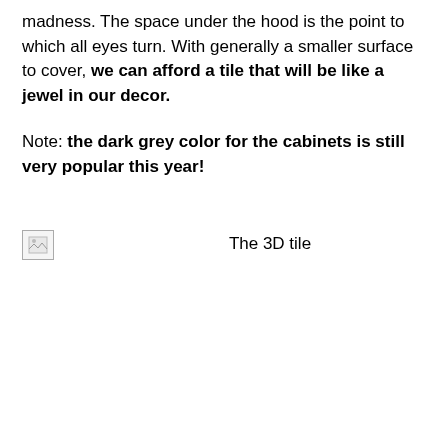madness. The space under the hood is the point to which all eyes turn. With generally a smaller surface to cover, we can afford a tile that will be like a jewel in our decor.
Note: the dark grey color for the cabinets is still very popular this year!
[Figure (illustration): Broken image placeholder icon on the left, with centered label text 'The 3D tile' and a green list/menu icon on the right]